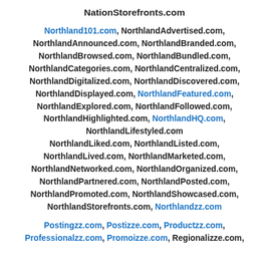NationStorefronts.com
Northland101.com, NorthlandAdvertised.com, NorthlandAnnounced.com, NorthlandBranded.com, NorthlandBrowsed.com, NorthlandBundled.com, NorthlandCategories.com, NorthlandCentralized.com, NorthlandDigitalized.com, NorthlandDiscovered.com, NorthlandDisplayed.com, NorthlandFeatured.com, NorthlandExplored.com, NorthlandFollowed.com, NorthlandHighlighted.com, NorthlandHQ.com, NorthlandLifestyled.com NorthlandLiked.com, NorthlandListed.com, NorthlandLived.com, NorthlandMarketed.com, NorthlandNetworked.com, NorthlandOrganized.com, NorthlandPartnered.com, NorthlandPosted.com, NorthlandPromoted.com, NorthlandShowcased.com, NorthlandStorefronts.com, Northlandzz.com
Postingzz.com, Postizze.com, Productzz.com, Professionalzz.com, Promoizze.com, Regionalizze.com,